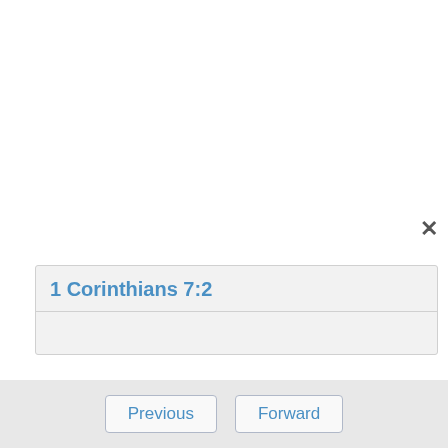1 Corinthians 7:2
But, because of sexual immoralities, let each man have his own wife, and let each woman have her own husband.
1 Corinthians 7:6
But this I say by way of concession, not of commandment.
Previous   Forward